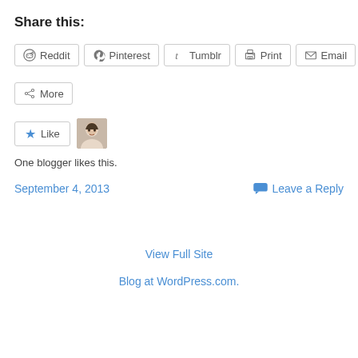Share this:
Reddit | Pinterest | Tumblr | Print | Email | More
[Figure (other): Like button with star icon and blogger avatar photo]
One blogger likes this.
September 4, 2013
Leave a Reply
View Full Site
Blog at WordPress.com.